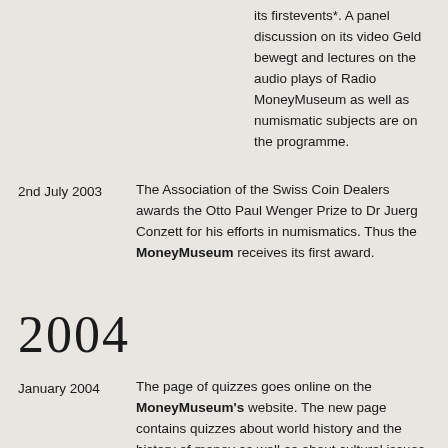its firstevents*. A panel discussion on its video Geld bewegt and lectures on the audio plays of Radio MoneyMuseum as well as numismatic subjects are on the programme.
2nd July 2003 — The Association of the Swiss Coin Dealers awards the Otto Paul Wenger Prize to Dr Juerg Conzett for his efforts in numismatics. Thus the MoneyMuseum receives its first award.
2004
January 2004 — The page of quizzes goes online on the MoneyMuseum's website. The new page contains quizzes about world history and the history of money as well as about cultural issues.
March 2004 — The MoneyMuseum at Hadlaubstrasse...